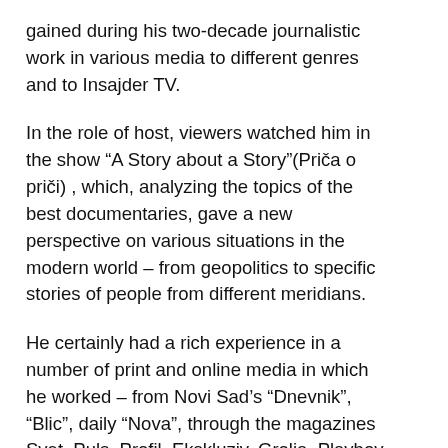gained during his two-decade journalistic work in various media to different genres and to Insajder TV.
In the role of host, viewers watched him in the show “A Story about a Story”(Priča o priči) , which, analyzing the topics of the best documentaries, gave a new perspective on various situations in the modern world – from geopolitics to specific stories of people from different meridians.
He certainly had a rich experience in a number of print and online media in which he worked – from Novi Sad’s “Dnevnik”, “Blic”, daily “Nova”, through the magazines Svet, Puls, Profil, Ekskluziv, Grolia, Playboy, Hello!, ELLE, Story and to the “Pulse Online” portal and the IGN Adria website.